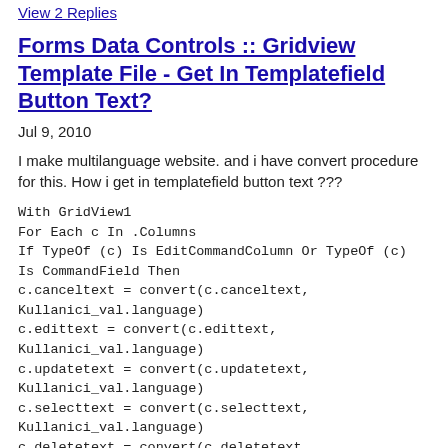View 2 Replies
Forms Data Controls :: Gridview Template File - Get In Templatefield Button Text?
Jul 9, 2010
I make multilanguage website. and i have convert procedure for this. How i get in templatefield button text ???
With GridView1
For Each c In .Columns
If TypeOf (c) Is EditCommandColumn Or TypeOf (c) Is CommandField Then
c.canceltext = convert(c.canceltext, Kullanici_val.language)
c.edittext = convert(c.edittext, Kullanici_val.language)
c.updatetext = convert(c.updatetext, Kullanici_val.language)
c.selecttext = convert(c.selecttext, Kullanici_val.language)
c.deletetext = convert(c.deletetext, Kullanici_val.language)
ElseIf TypeOf (c) Is TemplateField Then
c.text = convert(c.text, Kullanici_val.language)
Th...